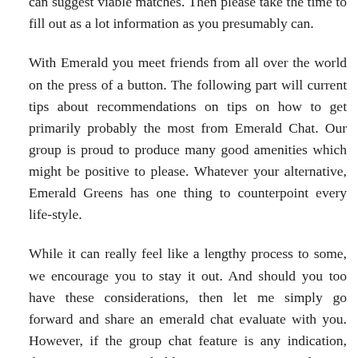opportunity to get to know you somewhat higher so it can suggest viable matches. Then please take the time to fill out as a lot information as you presumably can.
With Emerald you meet friends from all over the world on the press of a button. The following part will current tips about recommendations on tips on how to get primarily probably the most from Emerald Chat. Our group is proud to produce many good amenities which might be positive to please. Whatever your alternative, Emerald Greens has one thing to counterpoint every life-style.
While it can really feel like a lengthy process to some, we encourage you to stay it out. And should you too have these considerations, then let me simply go forward and share an emerald chat evaluate with you. However, if the group chat feature is any indication, then customers aren't holding again. Most rooms don't